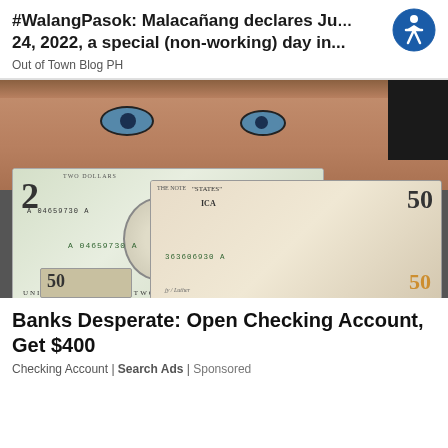#WalangPasok: Malacañang declares July 24, 2022, a special (non-working) day in...
Out of Town Blog PH
[Figure (photo): A man holding up two US dollar bills (a $2 bill and a $50 bill) close to his face, showing the serial numbers A 04659730 A and 363606930 A]
Banks Desperate: Open Checking Account, Get $400
Checking Account | Search Ads | Sponsored